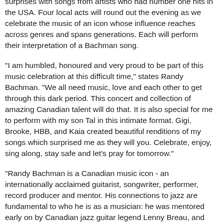standards, selections from the incredible catalogues of The Guess Who and Bachman-Turner Overdrive (BTO) and two surprises with songs from artists who had number one hits in the USA. Four local acts will round out the evening as we celebrate the music of an icon whose influence reaches across genres and spans generations. Each will perform their interpretation of a Bachman song.
"I am humbled, honoured and very proud to be part of this music celebration at this difficult time," states Randy Bachman. "We all need music, love and each other to get through this dark period. This concert and collection of amazing Canadian talent will do that. It is also special for me to perform with my son Tal in this intimate format. Gigi, Brooke, HBB, and Kaia created beautiful renditions of my songs which surprised me as they will you. Celebrate, enjoy, sing along, stay safe and let's pray for tomorrow."
"Randy Bachman is a Canadian music icon - an internationally acclaimed guitarist, songwriter, performer, record producer and mentor. His connections to jazz are fundamental to who he is as a musician: he was mentored early on by Canadian jazz guitar legend Lenny Breau, and his exploration of jazz melodies and harmonies appear throughout his catalogue," states Josh Grossman, Artistic Director. "We're excited to bridge his love of jazz and his extensive song list with this special show, which also features four local jazz, blues and folk artists recording their own interpretations of a Bachman written or co-written song."